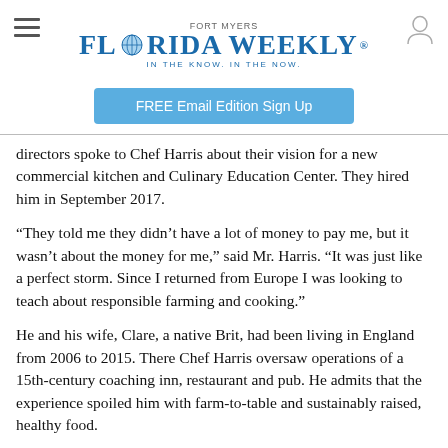Fort Myers Florida Weekly · IN THE KNOW. IN THE NOW.
FREE Email Edition Sign Up
directors spoke to Chef Harris about their vision for a new commercial kitchen and Culinary Education Center. They hired him in September 2017.
“They told me they didn’t have a lot of money to pay me, but it wasn’t about the money for me,” said Mr. Harris. “It was just like a perfect storm. Since I returned from Europe I was looking to teach about responsible farming and cooking.”
He and his wife, Clare, a native Brit, had been living in England from 2006 to 2015. There Chef Harris oversaw operations of a 15th-century coaching inn, restaurant and pub. He admits that the experience spoiled him with farm-to-table and sustainably raised, healthy food.